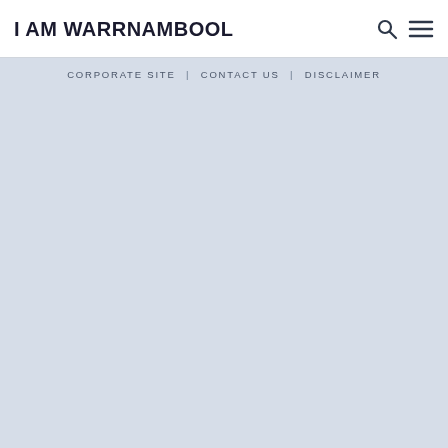I AM WARRNAMBOOL
CORPORATE SITE | CONTACT US | DISCLAIMER